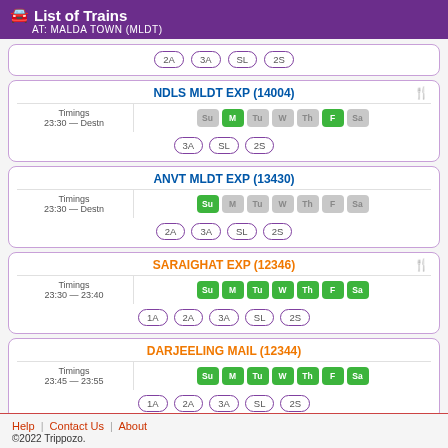List of Trains AT: MALDA TOWN (MLDT)
2A 3A SL 2S
NDLS MLDT EXP (14004)
Timings 23:30 — Destn | Days: Su M Tu W Th F Sa
3A SL 2S
ANVT MLDT EXP (13430)
Timings 23:30 — Destn | Days: Su M Tu W Th F Sa
2A 3A SL 2S
SARAIGHAT EXP (12346)
Timings 23:30 — 23:40 | Days: Su M Tu W Th F Sa
1A 2A 3A SL 2S
DARJEELING MAIL (12344)
Timings 23:45 — 23:55 | Days: Su M Tu W Th F Sa
1A 2A 3A SL 2S
Help | Contact Us | About ©2022 Trippozo.